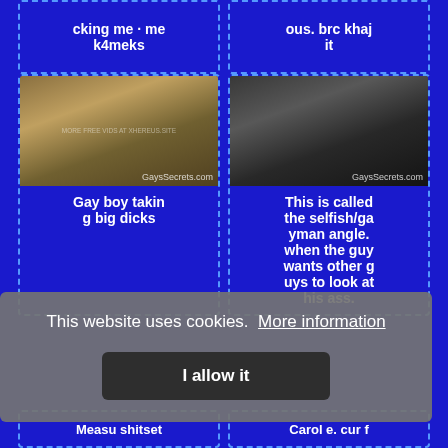cking me · me k4meks
ous. brc khaj it
[Figure (photo): Thumbnail image with GaysSecrets.com watermark]
Gay boy taking big dicks
[Figure (photo): Dark thumbnail image with GaySecrets.com watermark]
This is called the selfish/gayman angle. when the guy wants other guys to look at his ass.
This website uses cookies.  More information
I allow it
Measu shitset
Carol e. cur f